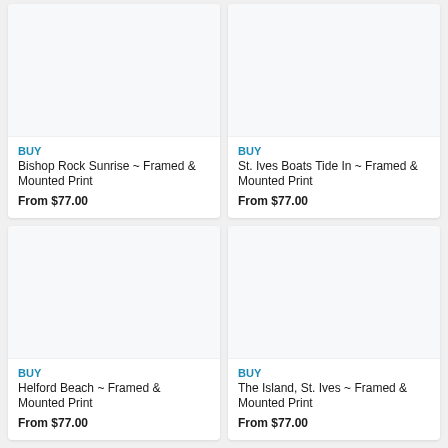BUY
Bishop Rock Sunrise ~ Framed & Mounted Print
From $77.00
BUY
St. Ives Boats Tide In ~ Framed & Mounted Print
From $77.00
[Figure (photo): Product image placeholder for Helford Beach Framed & Mounted Print]
BUY
Helford Beach ~ Framed & Mounted Print
From $77.00
[Figure (photo): Product image placeholder for The Island, St. Ives Framed & Mounted Print]
BUY
The Island, St. Ives ~ Framed & Mounted Print
From $77.00